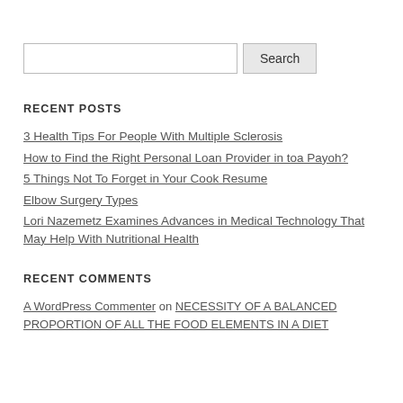[Search input and Search button]
RECENT POSTS
3 Health Tips For People With Multiple Sclerosis
How to Find the Right Personal Loan Provider in toa Payoh?
5 Things Not To Forget in Your Cook Resume
Elbow Surgery Types
Lori Nazemetz Examines Advances in Medical Technology That May Help With Nutritional Health
RECENT COMMENTS
A WordPress Commenter on NECESSITY OF A BALANCED PROPORTION OF ALL THE FOOD ELEMENTS IN A DIET